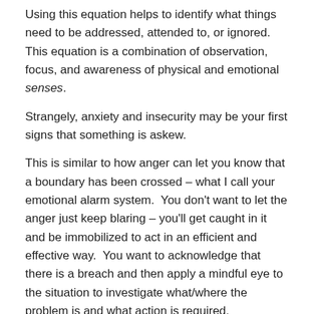Using this equation helps to identify what things need to be addressed, attended to, or ignored.  This equation is a combination of observation, focus, and awareness of physical and emotional senses.
Strangely, anxiety and insecurity may be your first signs that something is askew.
This is similar to how anger can let you know that a boundary has been crossed – what I call your emotional alarm system.  You don't want to let the anger just keep blaring – you'll get caught in it and be immobilized to act in an efficient and effective way.  You want to acknowledge that there is a breach and then apply a mindful eye to the situation to investigate what/where the problem is and what action is required.